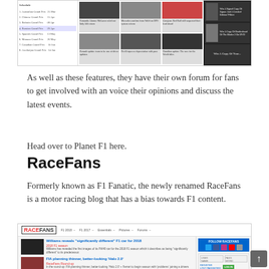[Figure (screenshot): Screenshot of a Formula 1 website (Planet F1) showing a race calendar on the left, news article thumbnails in the center grid, and promotional items on the right dark sidebar]
As well as these features, they have their own forum for fans to get involved with an voice their opinions and discuss the latest events.
Head over to Planet F1 here.
RaceFans
Formerly known as F1 Fanatic, the newly renamed RaceFans is a motor racing blog that has a bias towards F1 content.
[Figure (screenshot): Screenshot of RaceFans website showing the header navigation with logo and menu links (F1 2018, F1 2017, Essentials, Pictures, Forums), two article previews (Williams reveals 'significantly different' F1 car for 2018, and FIA planning thinner better-looking Halo 2.0), and a sidebar with Follow RaceFans social icons and login form]